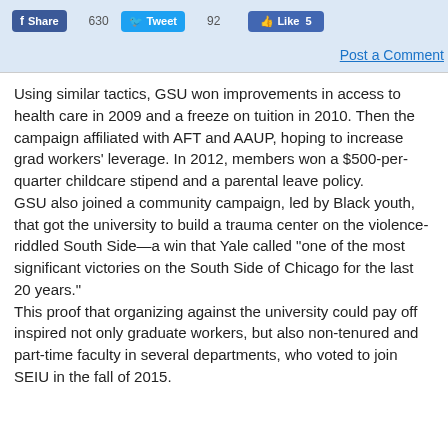[Figure (screenshot): Social media share buttons bar: Facebook Share (630), Tweet (92), Like (5), and Post a Comment link]
Using similar tactics, GSU won improvements in access to health care in 2009 and a freeze on tuition in 2010. Then the campaign affiliated with AFT and AAUP, hoping to increase grad workers’ leverage. In 2012, members won a $500-per-quarter childcare stipend and a parental leave policy.
GSU also joined a community campaign, led by Black youth, that got the university to build a trauma center on the violence-riddled South Side—a win that Yale called “one of the most significant victories on the South Side of Chicago for the last 20 years.”
This proof that organizing against the university could pay off inspired not only graduate workers, but also non-tenured and part-time faculty in several departments, who voted to join SEIU in the fall of 2015.